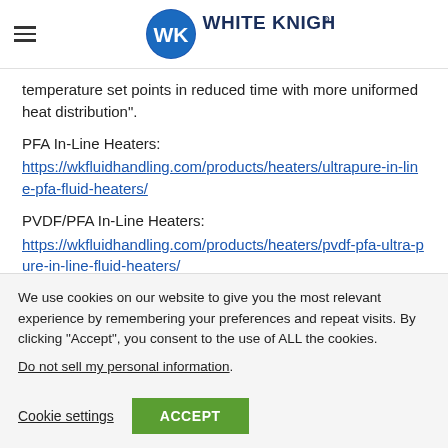White Knight logo and hamburger menu
temperature set points in reduced time with more uniformed heat distribution”.
PFA In-Line Heaters:
https://wkfluidhandling.com/products/heaters/ultrapure-in-line-pfa-fluid-heaters/
PVDF/PFA In-Line Heaters:
https://wkfluidhandling.com/products/heaters/pvdf-pfa-ultra-pure-in-line-fluid-heaters/
We use cookies on our website to give you the most relevant experience by remembering your preferences and repeat visits. By clicking “Accept”, you consent to the use of ALL the cookies.
Do not sell my personal information.
Cookie settings
ACCEPT